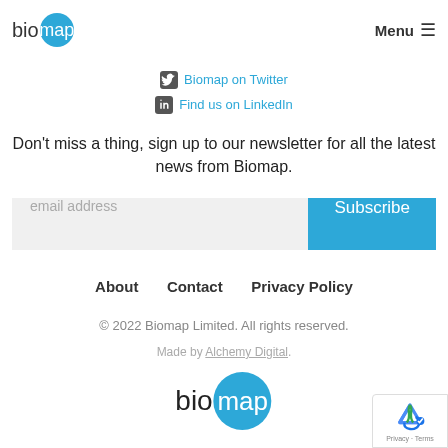[Figure (logo): Biomap logo with blue circle containing 'map' text in white, preceded by 'bio' in dark text]
Menu ≡
Biomap on Twitter
Find us on LinkedIn
Don't miss a thing, sign up to our newsletter for all the latest news from Biomap.
email address   Subscribe
About   Contact   Privacy Policy
© 2022 Biomap Limited. All rights reserved.
Made by Alchemy Digital.
[Figure (logo): Biomap logo large version at bottom of page]